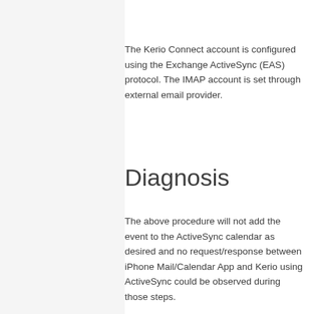The Kerio Connect account is configured using the Exchange ActiveSync (EAS) protocol. The IMAP account is set through external email provider.
Diagnosis
The above procedure will not add the event to the ActiveSync calendar as desired and no request/response between iPhone Mail/Calendar App and Kerio using ActiveSync could be observed during those steps.